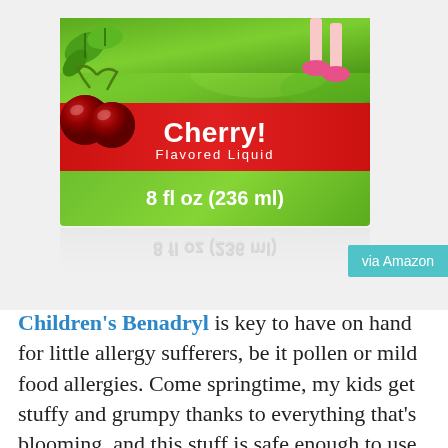[Figure (photo): Children's Benadryl Cherry Flavored Liquid 8 fl oz (236 ml) product box with green background, red band showing 'Cherry! Flavored Liquid', and reflection below. Via Amazon button in teal on the right.]
Children's Benadryl is key to have on hand for little allergy sufferers, be it pollen or mild food allergies. Come springtime, my kids get stuffy and grumpy thanks to everything that's blooming, and this stuff is safe enough to use every day (per our pediatrician). They actually like the cherry flavor,